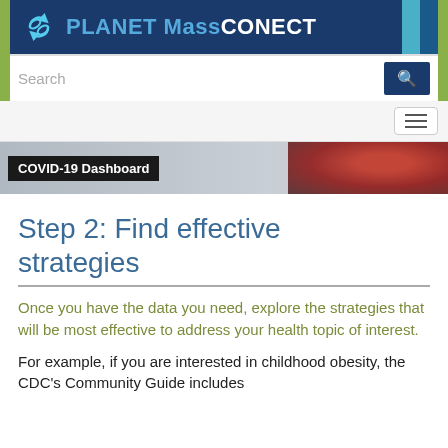[Figure (logo): PLANET MassCONECT website header with logo, search bar, and navigation hamburger menu]
[Figure (screenshot): COVID-19 Dashboard banner with virus image on right]
Step 2: Find effective strategies
Once you have the data you need, explore the strategies that will be most effective to address your health topic of interest.
For example, if you are interested in childhood obesity, the CDC's Community Guide includes